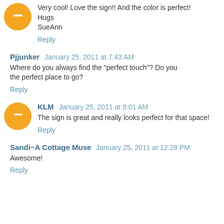Very cool! Love the sign!! And the color is perfect!
Hugs
SueAnn
Reply
Pjjunker January 25, 2011 at 7:43 AM
Where do you always find the "perfect touch"? Do you the perfect place to go?
Reply
KLM January 25, 2011 at 8:01 AM
The sign is great and really looks perfect for that space!
Reply
Sandi~A Cottage Muse January 25, 2011 at 12:28 PM
Awesome!
Reply